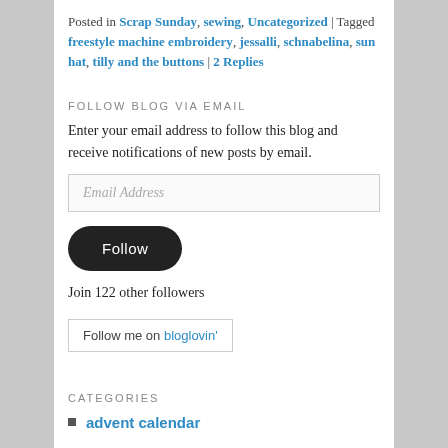Posted in Scrap Sunday, sewing, Uncategorized | Tagged freestyle machine embroidery, jessalli, schnabelina, sun hat, tilly and the buttons | 2 Replies
FOLLOW BLOG VIA EMAIL
Enter your email address to follow this blog and receive notifications of new posts by email.
Email Address
Follow
Join 122 other followers
Follow me on bloglovin'
CATEGORIES
advent calendar